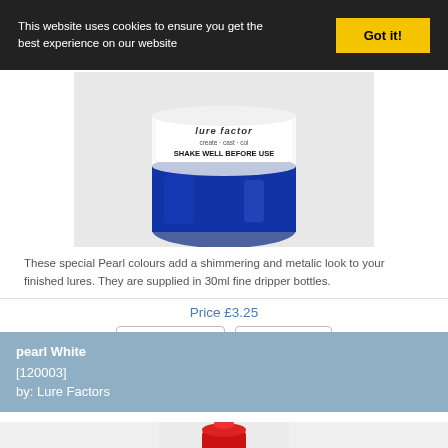This website uses cookies to ensure you get the best experience on our website
Got it!
[Figure (photo): Blue glass jar/bottle with white label reading 'Lure Factor' and 'SHAKE WELL BEFORE USE', containing blue pearlescent paint]
These special Pearl colours add a shimmering and metalic look to your finished lures. They are supplied in 30ml fine dripper bottles.
Price £3.25
Buy Now
Details
pearl White
[120003]
by: Lure Factors
[Figure (photo): Top portion of a red fine dripper bottle, showing the red dropper cap tip against a light gray background]